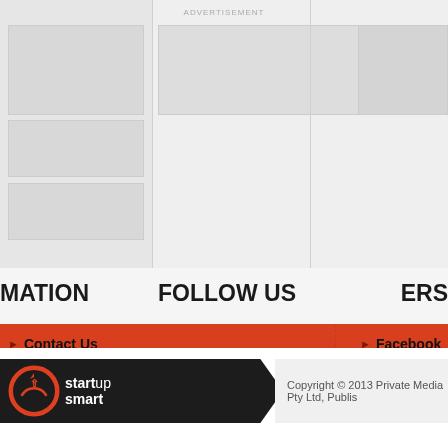ADVERTISEMENT
MATION
FOLLOW US
ERS
Contact Us
Advertise
About us
Terms & Conditions
Facebook
Twitter
Google+
LinkedIn
YouTube
Crikey
SmartCompany
Women's Agenda
Private Media
[Figure (logo): Startup Smart logo - circular arrow icon with 'startup smart' text on dark background with arrow chevron]
Copyright © 2013 Private Media Pty Ltd, Publis